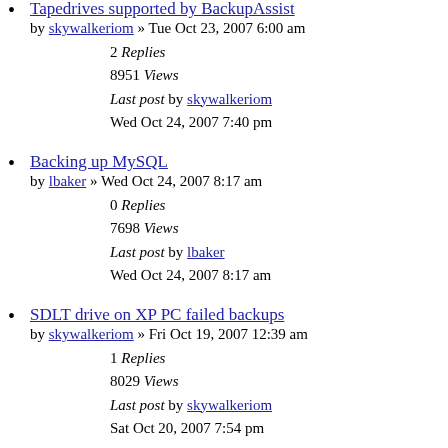14096 Views
Last post by xxan0xx
Tue Oct 30, 2007 4:29 am
Tapedrives supported by BackupAssist
by skywalkeriom » Tue Oct 23, 2007 6:00 am
2 Replies
8951 Views
Last post by skywalkeriom
Wed Oct 24, 2007 7:40 pm
Backing up MySQL
by lbaker » Wed Oct 24, 2007 8:17 am
0 Replies
7698 Views
Last post by lbaker
Wed Oct 24, 2007 8:17 am
SDLT drive on XP PC failed backups
by skywalkeriom » Fri Oct 19, 2007 12:39 am
1 Replies
8029 Views
Last post by skywalkeriom
Sat Oct 20, 2007 7:54 pm